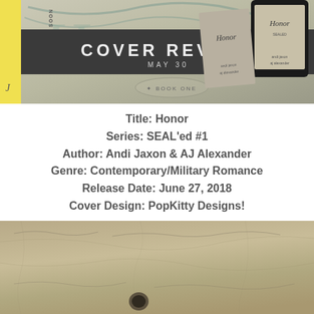[Figure (illustration): Cover reveal banner for the book 'Honor' showing decorative calligraphy background, yellow stripe on left with 'Coming Soon' text, dark grey bar with 'COVER REVEAL MAY 30' text, 'BOOK ONE' stamp, and book cover mockups on the right side]
Title: Honor
Series: SEAL'ed #1
Author: Andi Jaxon & AJ Alexander
Genre: Contemporary/Military Romance
Release Date: June 27, 2018
Cover Design: PopKitty Designs!
[Figure (photo): Close-up photo of aged, crumpled parchment/paper with handwritten script text and a dark circular burn or stain mark]